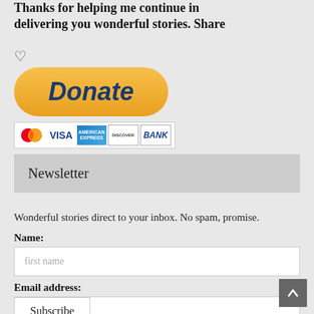Thanks for helping me continue in delivering you wonderful stories. Share
[Figure (other): PayPal Donate button with heart icon above and payment method icons below (MasterCard, VISA, American Express, Discover, BANK)]
Newsletter
Wonderful stories direct to your inbox. No spam, promise.
Name:
first name
Email address:
email address
Subscribe